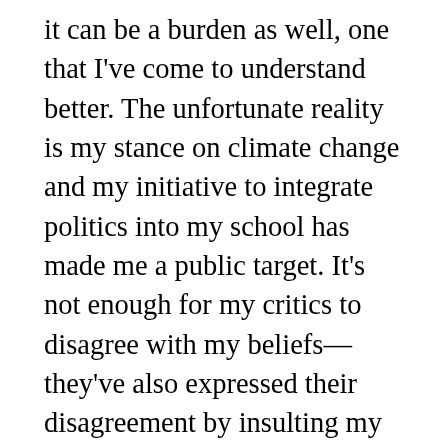it can be a burden as well, one that I've come to understand better. The unfortunate reality is my stance on climate change and my initiative to integrate politics into my school has made me a public target. It's not enough for my critics to disagree with my beliefs—they've also expressed their disagreement by insulting my identity as a first generation Korean American immigrant.
Months before I'd organized the school walkout for climate change, the Chattanooga Students Demand Action group held a Disarm Hate vigil to honor the victims of mass shootings in El Paso, Chicago, and Dayton, Ohio. As the group's lead speaker, I conducted